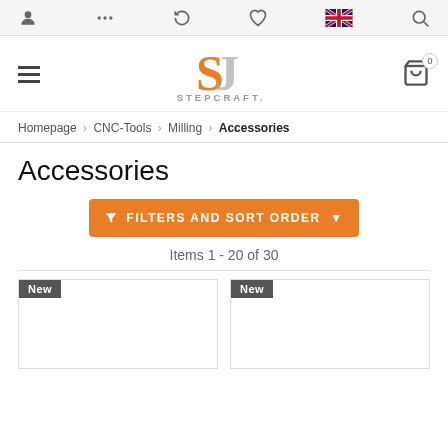Navigation bar with user icon, menu dots, return icon, wishlist heart, UK flag, search icon
[Figure (logo): Stepcraft logo with orange S and grey STEPCRAFT. text]
Homepage > CNC-Tools > Milling > Accessories
Accessories
FILTERS AND SORT ORDER
Items 1 - 20 of 30
[Figure (screenshot): Two product cards each with a 'New' badge, content area blank (product images not visible)]